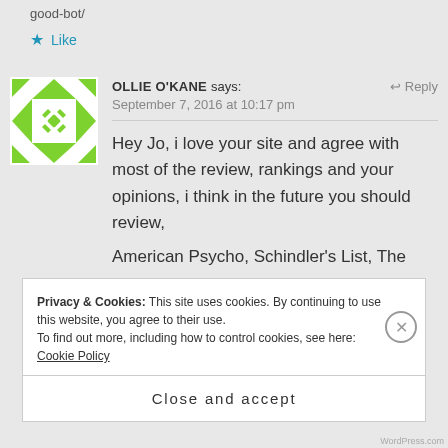good-bot/
★ Like
OLLIE O'KANE says:
September 7, 2016 at 10:17 pm
↩ Reply
Hey Jo, i love your site and agree with most of the review, rankings and your opinions, i think in the future you should review,
American Psycho, Schindler's List, The
Privacy & Cookies: This site uses cookies. By continuing to use this website, you agree to their use.
To find out more, including how to control cookies, see here: Cookie Policy
Close and accept